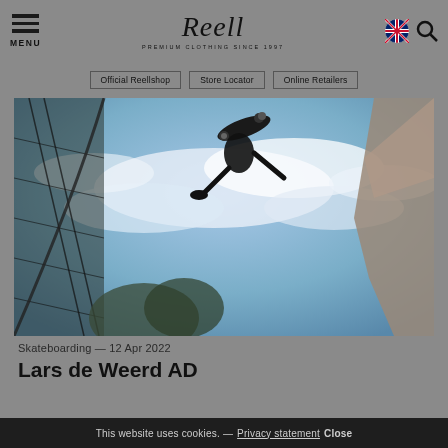MENU | Reell PREMIUM CLOTHING SINCE 1997
Official Reellshop | Store Locator | Online Retailers
[Figure (photo): Skateboarder performing an aerial trick, shot from below against a blue cloudy sky, with fence netting visible on the left and a rock/wall on the right]
Skateboarding — 12 Apr 2022
Lars de Weerd AD
This website uses cookies. — Privacy statement Close